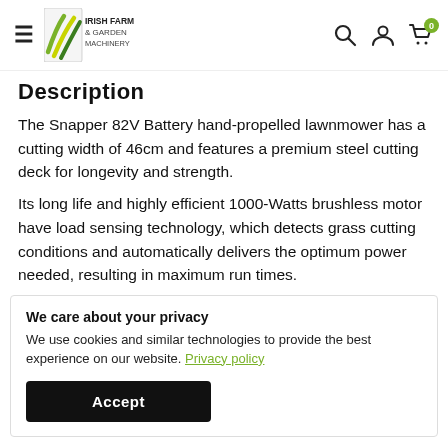Irish Farm & Garden Machinery — navigation header with logo, search, account, and cart icons
Description
The Snapper 82V Battery hand-propelled lawnmower has a cutting width of 46cm and features a premium steel cutting deck for longevity and strength.
Its long life and highly efficient 1000-Watts brushless motor have load sensing technology, which detects grass cutting conditions and automatically delivers the optimum power needed, resulting in maximum run times.
We care about your privacy
We use cookies and similar technologies to provide the best experience on our website. Privacy policy
[Accept button]